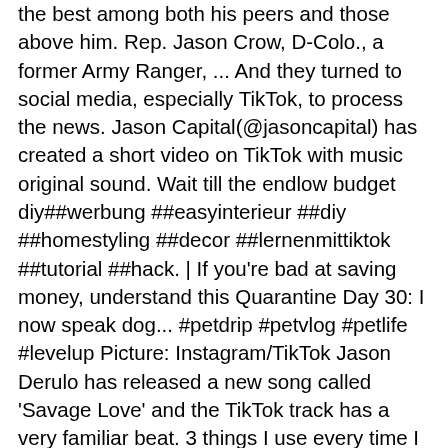the best among both his peers and those above him. Rep. Jason Crow, D-Colo., a former Army Ranger, ... And they turned to social media, especially TikTok, to process the news. Jason Capital(@jasoncapital) has created a short video on TikTok with music original sound. Wait till the endlow budget diy##werbung ##easyinterieur ##diy ##homestyling ##decor ##lernenmittiktok ##tutorial ##hack. | If you're bad at saving money, understand this Quarantine Day 30: I now speak dog... #petdrip #petvlog #petlife #levelup Picture: Instagram/TikTok Jason Derulo has released a new song called 'Savage Love' and the TikTok track has a very familiar beat. 3 things I use every time I speak on-stage #moreyouknow #publicspeaking ich hoffe es gefällt euch & ihr seid genauso hyped wie ich auf den Song #1#00Tausend. Enjoy Jason's Top 4, Best-Selling Courses of All Time! Besonders erfolgreich sind Marken, die die Kreativität und Vielfalt unserer Community nutzen und gemeinsam mit unseren Nutzer*innen ihre Geschichten erzählen.". People don't know Jason Derulo is a pop star thanks to TikTok. TikTok - trends start here. Neben